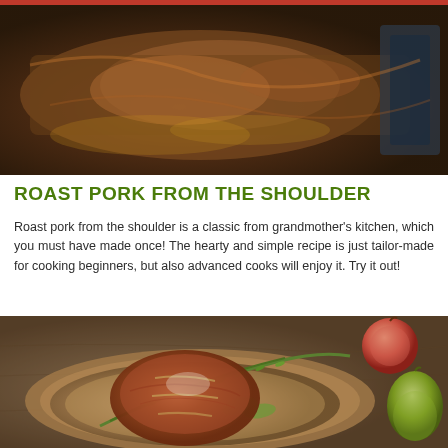[Figure (photo): Close-up photo of roasted pork shoulder in a dark roasting pan with juices]
ROAST PORK FROM THE SHOULDER
Roast pork from the shoulder is a classic from grandmother's kitchen, which you must have made once! The hearty and simple recipe is just tailor-made for cooking beginners, but also advanced cooks will enjoy it. Try it out!
[Figure (photo): Photo of a tied roast pork shoulder on a wooden board with fresh rosemary and sage herbs, with apples in the background]